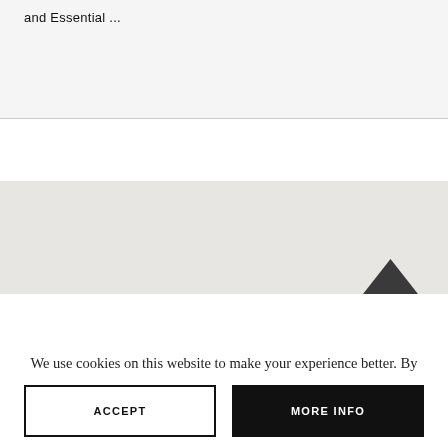and Essential ...
[Figure (photo): Light gray/beige background with a dark triangular shape visible at bottom right corner]
We use cookies on this website to make your experience better. By continuing to browse you agree to our use of cookies.
ACCEPT
MORE INFO